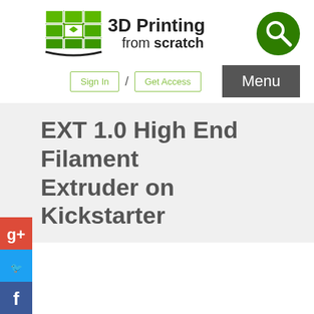[Figure (logo): 3D Printing from scratch website logo with green cube icon, site name, and search button]
Sign In / Get Access   Menu
NEXT 1.0 High End Filament Extruder on Kickstarter
[Figure (infographic): Social media share buttons sidebar: Google+, Twitter, Facebook, Pinterest, Share, Reddit, LinkedIn, Bookmark]